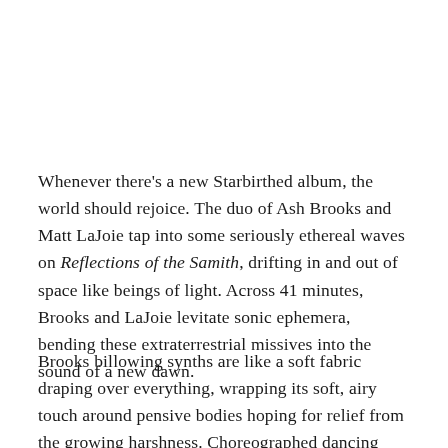Whenever there's a new Starbirthed album, the world should rejoice. The duo of Ash Brooks and Matt LaJoie tap into some seriously ethereal waves on Reflections of the Samith, drifting in and out of space like beings of light. Across 41 minutes, Brooks and LaJoie levitate sonic ephemera, bending these extraterrestrial missives into the sound of a new dawn.
Brooks billowing synths are like a soft fabric draping over everything, wrapping its soft, airy touch around pensive bodies hoping for relief from the growing harshness. Choreographed dancing resonances are